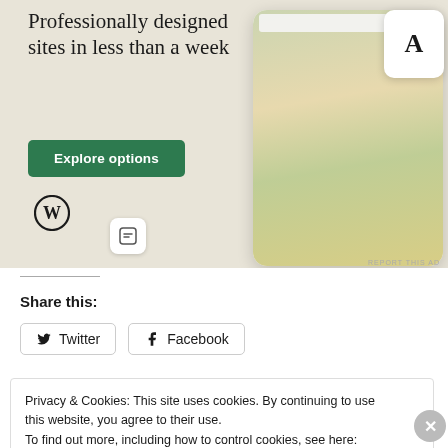[Figure (screenshot): WordPress advertisement banner with beige background showing text 'Professionally designed sites in less than a week', a green 'Explore options' button, WordPress logo, and website design mockups on the right side.]
Share this:
Twitter  Facebook
Privacy & Cookies: This site uses cookies. By continuing to use this website, you agree to their use.
To find out more, including how to control cookies, see here: Cookie Policy
Close and accept